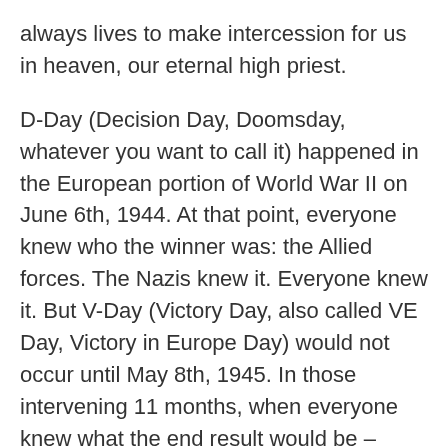always lives to make intercession for us in heaven, our eternal high priest.
D-Day (Decision Day, Doomsday, whatever you want to call it) happened in the European portion of World War II on June 6th, 1944. At that point, everyone knew who the winner was: the Allied forces. The Nazis knew it. Everyone knew it. But V-Day (Victory Day, also called VE Day, Victory in Europe Day) would not occur until May 8th, 1945. In those intervening 11 months, when everyone knew what the end result would be – victory for the Allies and the downfall of Hitler and the Nazis – there were more casualties than in the previous 5 years of the war. Why? Because the defeated Nazis were desperate and angry about losing.
On the spiritual level, D-Day occurred on Easter Sunday when Jesus rose from the dead and that victory was cemented on Ascension Day when he took up his throne. V-Day, Victory Day, will occur when Jesus returns. In the meantime, we live in that